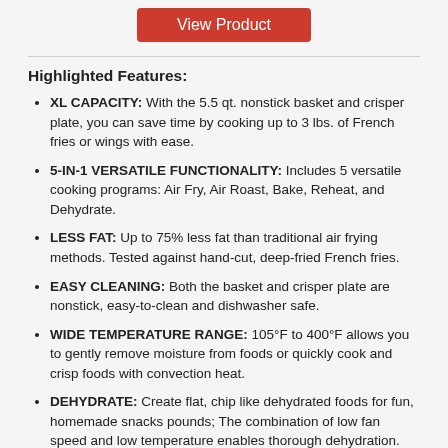View Product
Highlighted Features:
XL CAPACITY: With the 5.5 qt. nonstick basket and crisper plate, you can save time by cooking up to 3 lbs. of French fries or wings with ease.
5-IN-1 VERSATILE FUNCTIONALITY: Includes 5 versatile cooking programs: Air Fry, Air Roast, Bake, Reheat, and Dehydrate.
LESS FAT: Up to 75% less fat than traditional air frying methods. Tested against hand-cut, deep-fried French fries.
EASY CLEANING: Both the basket and crisper plate are nonstick, easy-to-clean and dishwasher safe.
WIDE TEMPERATURE RANGE: 105°F to 400°F allows you to gently remove moisture from foods or quickly cook and crisp foods with convection heat.
DEHYDRATE: Create flat, chip like dehydrated foods for fun, homemade snacks pounds; The combination of low fan speed and low temperature enables thorough dehydration.